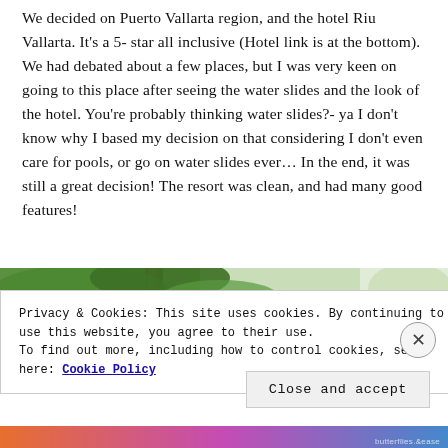We decided on Puerto Vallarta region, and the hotel Riu Vallarta. It's a 5- star all inclusive (Hotel link is at the bottom). We had debated about a few places, but I was very keen on going to this place after seeing the water slides and the look of the hotel. You're probably thinking water slides?- ya I don't know why I based my decision on that considering I don't even care for pools, or go on water slides ever... In the end, it was still a great decision! The resort was clean, and had many good features!
[Figure (photo): Partial photo of palm trees visible behind a cookie consent overlay banner]
Privacy & Cookies: This site uses cookies. By continuing to use this website, you agree to their use.
To find out more, including how to control cookies, see here: Cookie Policy
Close and accept